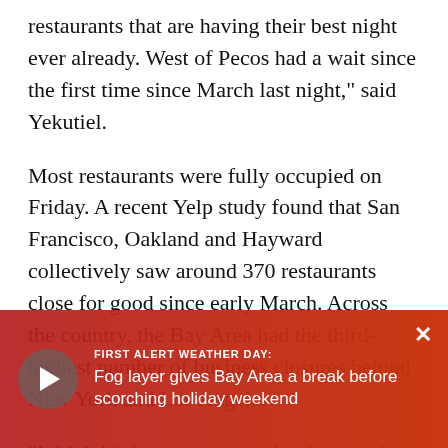restaurants that are having their best night ever already. West of Pecos had a wait since the first time since March last night," said Yekutiel.
Most restaurants were fully occupied on Friday. A recent Yelp study found that San Francisco, Oakland and Hayward collectively saw around 370 restaurants close for good since early March. Across the country, the Bay Area had the third-highest number of business closures behind New York and Los Angeles.
"I think it's just more attractive for people to come down, walk down the street. They feel safer," said Etcetera wine bar o…
The car-free pilot p…
[Figure (screenshot): Red overlay banner at bottom of screen showing a video player with play button on left, and text: 'FIRST ALERT WEATHER DAY: Fog layer gives Bay Area a break before scorching holiday weekend' on right, with an X close button in top right corner.]